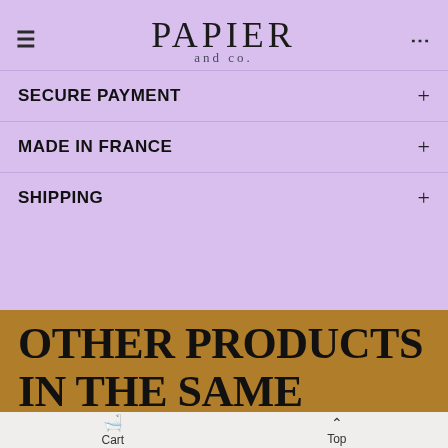PAPIER and co.
SECURE PAYMENT
MADE IN FRANCE
SHIPPING
OTHER PRODUCTS IN THE SAME CATEGORY:
Cart  Top